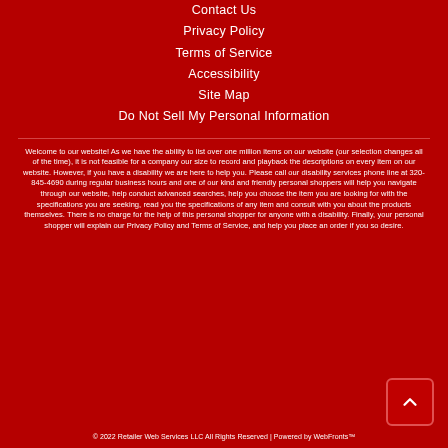Contact Us
Privacy Policy
Terms of Service
Accessibility
Site Map
Do Not Sell My Personal Information
Welcome to our website! As we have the ability to list over one million items on our website (our selection changes all of the time), it is not feasible for a company our size to record and playback the descriptions on every item on our website. However, if you have a disability we are here to help you. Please call our disability services phone line at 320-845-4690 during regular business hours and one of our kind and friendly personal shoppers will help you navigate through our website, help conduct advanced searches, help you choose the item you are looking for with the specifications you are seeking, read you the specifications of any item and consult with you about the products themselves. There is no charge for the help of this personal shopper for anyone with a disability. Finally, your personal shopper will explain our Privacy Policy and Terms of Service, and help you place an order if you so desire.
© 2022 Retailer Web Services LLC All Rights Reserved | Powered by WebFronts™